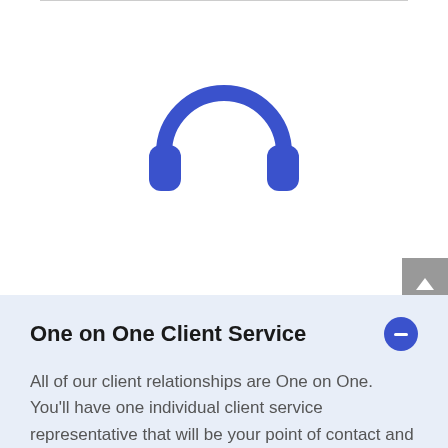[Figure (illustration): Blue headphones icon centered on white background]
One on One Client Service
All of our client relationships are One on One.  You'll have one individual client service representative that will be your point of contact and you'll build a relationship with